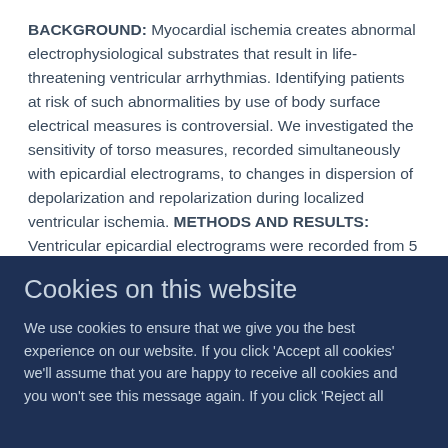BACKGROUND: Myocardial ischemia creates abnormal electrophysiological substrates that result in life-threatening ventricular arrhythmias. Identifying patients at risk of such abnormalities by use of body surface electrical measures is controversial. We investigated the sensitivity of torso measures, recorded simultaneously with epicardial electrograms, to changes in dispersion of depolarization and repolarization during localized ventricular ischemia. METHODS AND RESULTS: Ventricular epicardial electrograms were recorded from 5 anesthetized pigs with a 127-electrode sock. A controllable suture snare was used to ligate the left anterior descending coronary artery (LAD). The
Cookies on this website
We use cookies to ensure that we give you the best experience on our website. If you click 'Accept all cookies' we'll assume that you are happy to receive all cookies and you won't see this message again. If you click 'Reject all